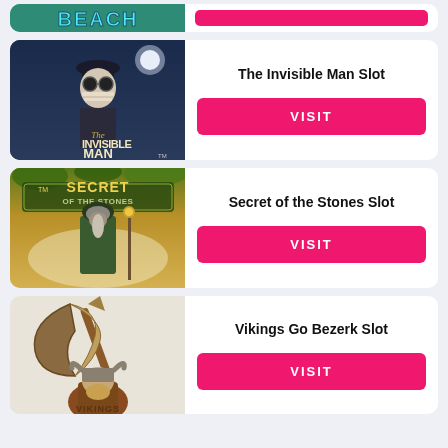[Figure (screenshot): Partial top card with beach game image and pink visit button strip]
[Figure (screenshot): The Invisible Man Slot game card with dark moody image of invisible man character]
The Invisible Man Slot
VISIT
[Figure (screenshot): Secret of the Stones Slot game card with golden/green game logo and wizard character]
Secret of the Stones Slot
VISIT
[Figure (screenshot): Vikings Go Bezerk Slot game card with viking character holding large axe]
Vikings Go Bezerk Slot
VISIT